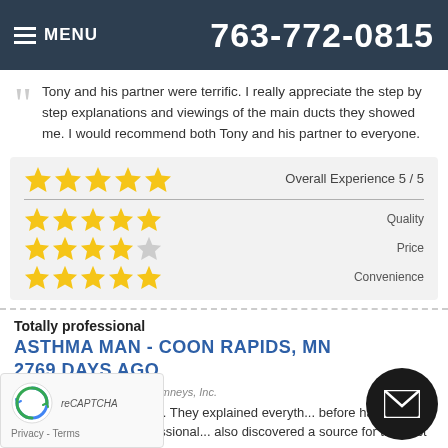MENU  763-772-0815
Tony and his partner were terrific. I really appreciate the step by step explanations and viewings of the main ducts they showed me. I would recommend both Tony and his partner to everyone.
[Figure (infographic): Star ratings box showing Overall Experience 5/5 (5 stars), Quality (5 stars), Price (4 stars), Convenience (5 stars)]
Totally professional
ASTHMA MAN - COON RAPIDS, MN
2769 DAYS AGO
Review of 2nd Generation Chimneys, Inc.
These guys were the best. They explained everyth... before hand. They were polite and vey professional... also discovered a source for the dust in our home and they